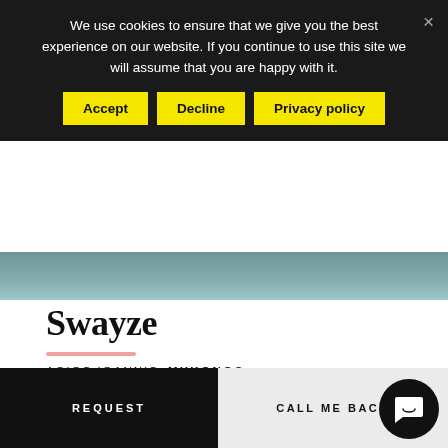We use cookies to ensure that we give you the best experience on our website. If you continue to use this site we will assume that you are happy with it.
Accept
Decline
Privacy policy
Swayze
AGIOS IOANNIS  MYKONOS
10  5  6
REQUEST
CALL ME BACK